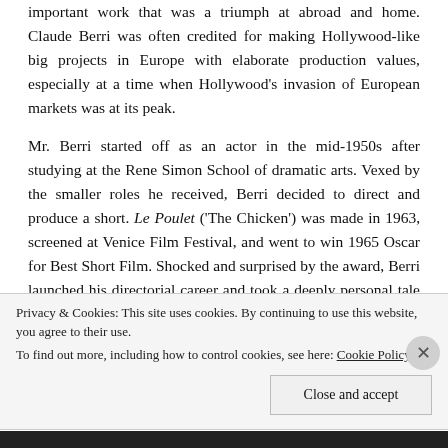important work that was a triumph at abroad and home. Claude Berri was often credited for making Hollywood-like big projects in Europe with elaborate production values, especially at a time when Hollywood's invasion of European markets was at its peak.
Mr. Berri started off as an actor in the mid-1950s after studying at the Rene Simon School of dramatic arts. Vexed by the smaller roles he received, Berri decided to direct and produce a short. Le Poulet ('The Chicken') was made in 1963, screened at Venice Film Festival, and went to win 1965 Oscar for Best Short Film. Shocked and surprised by the award, Berri launched his directorial career and took a deeply personal tale as the subject for his debut feature. The Two of Us ('Le Vieil
Privacy & Cookies: This site uses cookies. By continuing to use this website, you agree to their use.
To find out more, including how to control cookies, see here: Cookie Policy
Close and accept